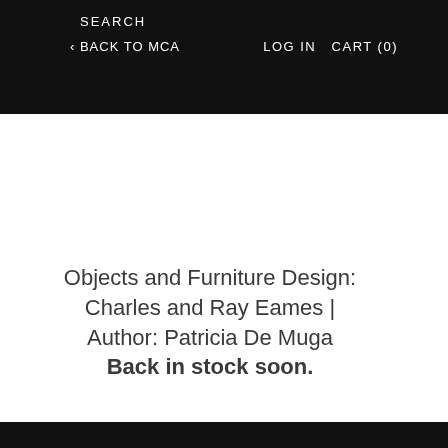SEARCH
< BACK TO MCA   LOG IN   CART (0)
Objects and Furniture Design: Charles and Ray Eames | Author: Patricia De Muga
Back in stock soon.